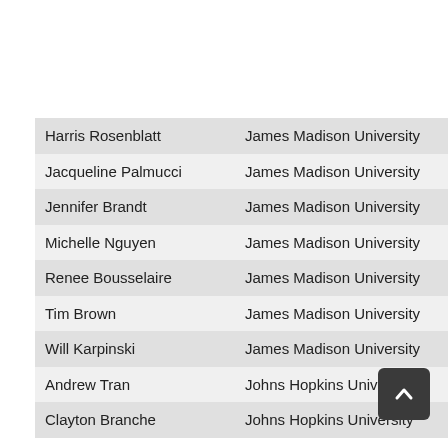| Name | Institution |
| --- | --- |
| Harris Rosenblatt | James Madison University |
| Jacqueline Palmucci | James Madison University |
| Jennifer Brandt | James Madison University |
| Michelle Nguyen | James Madison University |
| Renee Bousselaire | James Madison University |
| Tim Brown | James Madison University |
| Will Karpinski | James Madison University |
| Andrew Tran | Johns Hopkins University |
| Clayton Branche | Johns Hopkins University |